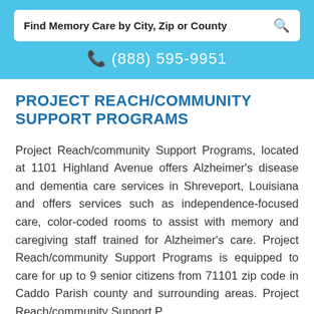[Figure (other): Search bar with text 'Find Memory Care by City, Zip or County' and a magnifying glass icon]
☎ (888) 595-9951
PROJECT REACH/COMMUNITY SUPPORT PROGRAMS
Project Reach/community Support Programs, located at 1101 Highland Avenue offers Alzheimer's disease and dementia care services in Shreveport, Louisiana and offers services such as independence-focused care, color-coded rooms to assist with memory and caregiving staff trained for Alzheimer's care. Project Reach/community Support Programs is equipped to care for up to 9 senior citizens from 71101 zip code in Caddo Parish county and surrounding areas. Project Reach/community Support Programs is also licensed to provide